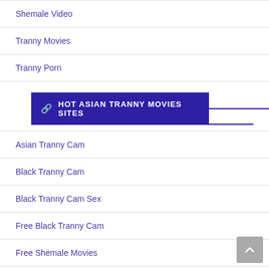Shemale Video
Tranny Movies
Tranny Porn
HOT ASIAN TRANNY MOVIES SITES
Asian Tranny Cam
Black Tranny Cam
Black Tranny Cam Sex
Free Black Tranny Cam
Free Shemale Movies